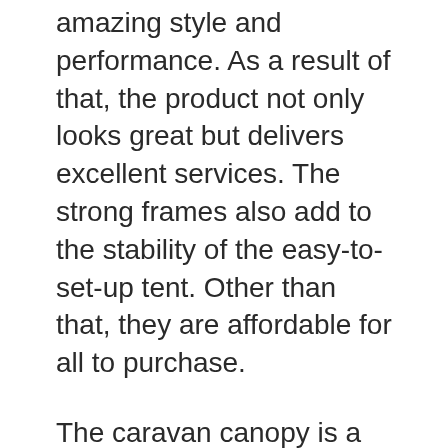amazing style and performance. As a result of that, the product not only looks great but delivers excellent services. The strong frames also add to the stability of the easy-to-set-up tent. Other than that, they are affordable for all to purchase.
The caravan canopy is a 10 by 20 feet product with a white color finish. It features a sturdy frame that holds the product in place. The easy to set up mechanism makes it the ultimate tent to have. The top shade material of construction is polyethylene, which is heat-free and water-resistant. The frames material of construction is